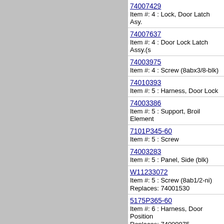74007429
Item #: 4 : Lock, Door Latch Asy.
74007637
Item #: 4 : Door Lock Latch Assy.(s
74003975
Item #: 4 : Screw (8abx3/8-blk)
74010393
Item #: 5 : Harness, Door Lock
74003386
Item #: 5 : Support, Broil Element
7101P345-60
Item #: 5 : Screw
74003283
Item #: 5 : Panel, Side (blk)
W11233072
Item #: 5 : Screw (8ab1/2-ni)
Replaces: 74001530
5175P365-60
Item #: 6 : Harness, Door Position
Replaces: 74009975
WPW10310249
Item #: 6 : Element, Broil (4 Pass)